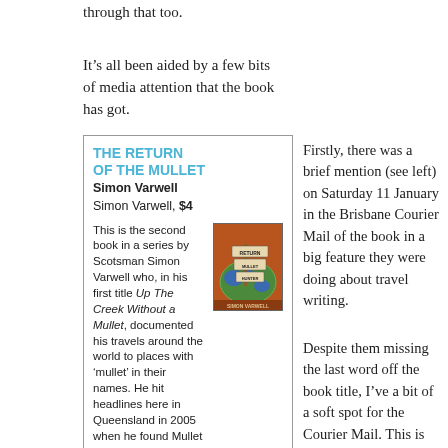through that too.
It’s all been aided by a few bits of media attention that the book has got.
THE RETURN OF THE MULLET
Simon Varwell
Simon Varwell, $4

This is the second book in a series by Scotsman Simon Varwell who, in his first title Up The Creek Without a Mullet, documented his travels around the world to places with ‘mullet’ in their names. He hit headlines here in Queensland in 2005 when he found Mullet Creek near Bundaberg. The Return of the Mullet Hunter charts his trips through England, Canada, New Zealand and the USA.
    It’s only available as an e-book from Kindle and is one for those who enjoy the
Firstly, there was a brief mention (see left) on Saturday 11 January in the Brisbane Courier Mail of the book in a big feature they were doing about travel writing.
Despite them missing the last word off the book title, I’ve a bit of a soft spot for the Courier Mail. This is mainly because I had such a fun